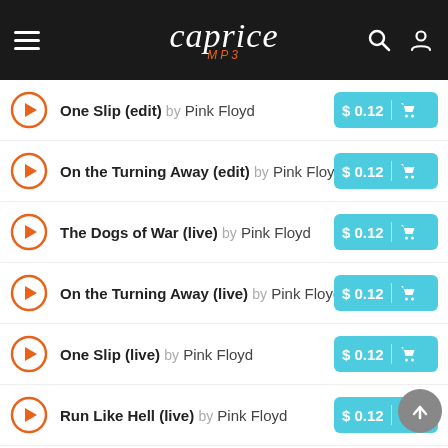caprice MP3
One Slip (edit) by Pink Floyd — $0.12
On the Turning Away (edit) by Pink Floyd — $0.12
The Dogs of War (live) by Pink Floyd — $0.12
On the Turning Away (live) by Pink Floyd — $0.12
One Slip (live) by Pink Floyd — $0.12
Run Like Hell (live) by Pink Floyd — $0.12
Wearing the Inside Out (LP version) by Pink Floyd — $0.12